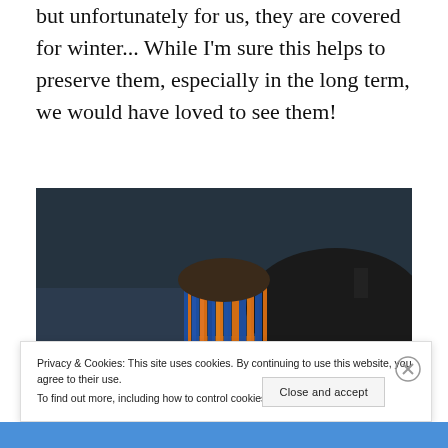but unfortunately for us, they are covered for winter... While I'm sure this helps to preserve them, especially in the long term, we would have loved to see them!
[Figure (photo): Back view of a person with colorful blue and orange dreadlocks against a dark background with a wooden surface visible]
Privacy & Cookies: This site uses cookies. By continuing to use this website, you agree to their use. To find out more, including how to control cookies, see here: Cookie Policy